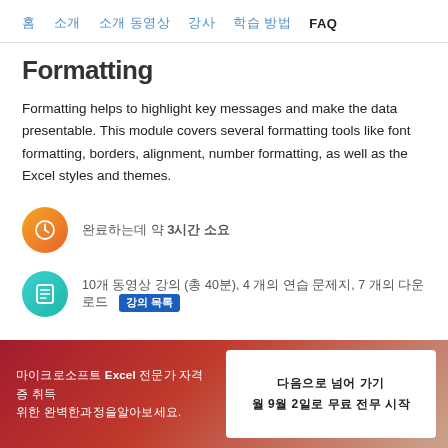홈   소개   소개 동영상   강사   학습 방법   FAQ
Formatting
Formatting helps to highlight key messages and make the data presentable. This module covers several formatting tools like font formatting, borders, alignment, number formatting, as well as the Excel styles and themes.
완료하는데 약 3시간 소요
10개 동영상 강의 (총 40분), 4 개의 연습 문제지, 7 개의 다운로드   강의 목록
마이크로소프트 Excel 전문가 자격증 취득 위한 완벽한과정을알아보세요.
다음으로 넘어 가기
월 9월 2일로 무료 전무 시작